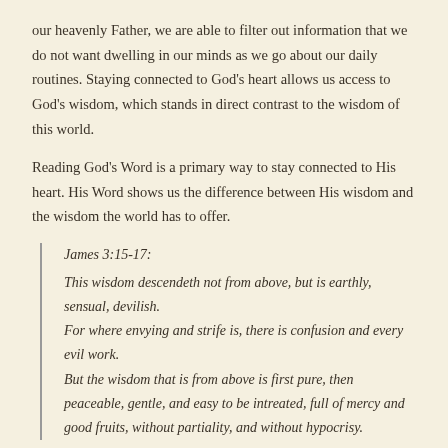our heavenly Father, we are able to filter out information that we do not want dwelling in our minds as we go about our daily routines. Staying connected to God’s heart allows us access to God’s wisdom, which stands in direct contrast to the wisdom of this world.
Reading God’s Word is a primary way to stay connected to His heart. His Word shows us the difference between His wisdom and the wisdom the world has to offer.
James 3:15-17:
This wisdom descendeth not from above, but is earthly, sensual, devilish.
For where envying and strife is, there is confusion and every evil work.
But the wisdom that is from above is first pure, then peaceable, gentle, and easy to be intreated, full of mercy and good fruits, without partiality, and without hypocrisy.